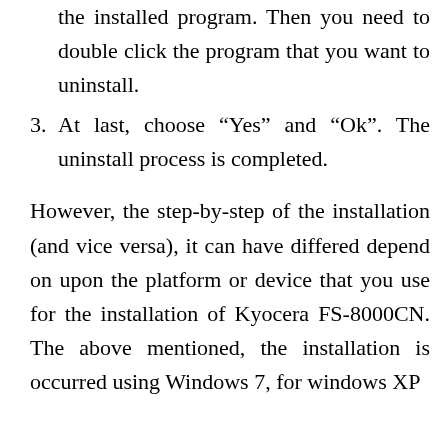the installed program. Then you need to double click the program that you want to uninstall.
3. At last, choose “Yes” and “Ok”. The uninstall process is completed.
However, the step-by-step of the installation (and vice versa), it can have differed depend on upon the platform or device that you use for the installation of Kyocera FS-8000CN. The above mentioned, the installation is occurred using Windows 7, for windows XP